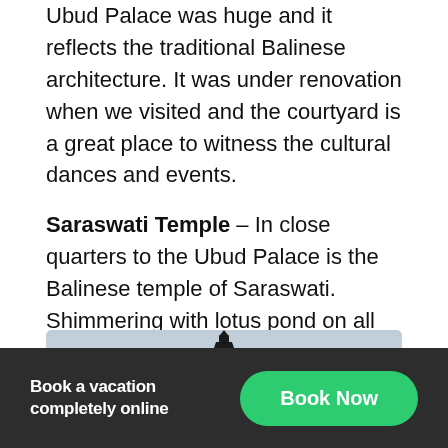Ubud Palace was huge and it reflects the traditional Balinese architecture. It was under renovation when we visited and the courtyard is a great place to witness the cultural dances and events.
Saraswati Temple – In close quarters to the Ubud Palace is the Balinese temple of Saraswati. Shimmering with lotus pond on all sides, the temple is bliss to walk around. Also, to click photographs of. And, you don't even need to wear a sarong. That's the most amazing part.
[Figure (photo): Photo of a Balinese pagoda/temple tower silhouetted against a light grey sky]
Book a vacation completely online | Book Now